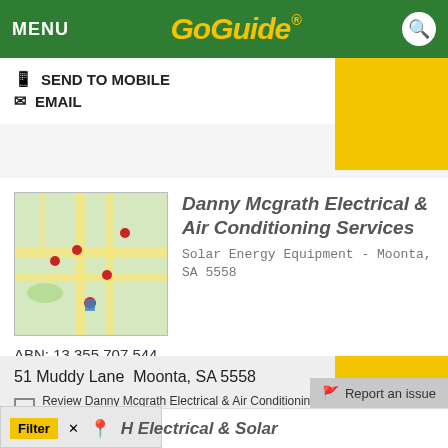MENU | GoGuide
SEND TO MOBILE
EMAIL
Danny Mcgrath Electrical & Air Conditioning Services
Solar Energy Equipment - Moonta, SA 5558
ABN: 13 355 707 544
[Figure (map): Street map thumbnail showing Moonta area]
51 Muddy Lane  Moonta, SA 5558
Review Danny Mcgrath Electrical & Air Conditioning Services
SEND TO MOBILE
WEBSITE
EMAIL
Report an issue